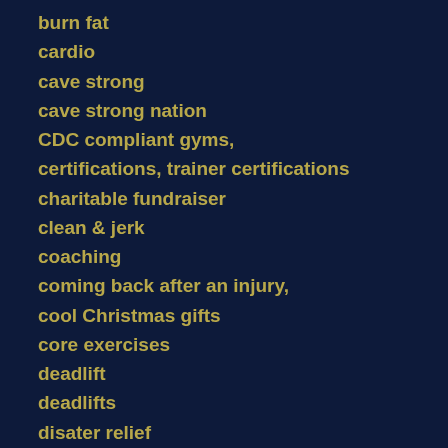burn fat
cardio
cave strong
cave strong nation
CDC compliant gyms,
certifications, trainer certifications
charitable fundraiser
clean & jerk
coaching
coming back after an injury,
cool Christmas gifts
core exercises
deadlift
deadlifts
disater relief
drowning prevention
dumbbell workouts
early workouts